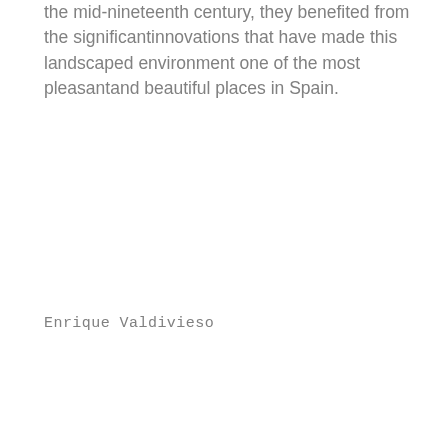the mid-nineteenth century, they benefited from the significantinnovations that have made this landscaped environment one of the most pleasantand beautiful places in Spain.
Enrique Valdivieso